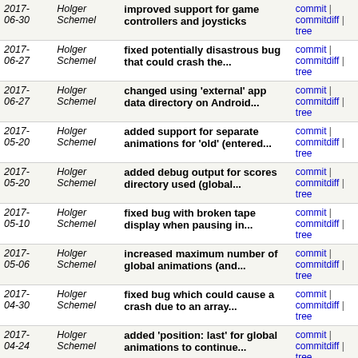| Date | Author | Message | Links |
| --- | --- | --- | --- |
| 2017-06-30 | Holger Schemel | improved support for game controllers and joysticks | commit | commitdiff | tree |
| 2017-06-27 | Holger Schemel | fixed potentially disastrous bug that could crash the... | commit | commitdiff | tree |
| 2017-06-27 | Holger Schemel | changed using 'external' app data directory on Android... | commit | commitdiff | tree |
| 2017-05-20 | Holger Schemel | added support for separate animations for 'old' (entered... | commit | commitdiff | tree |
| 2017-05-20 | Holger Schemel | added debug output for scores directory used (global... | commit | commitdiff | tree |
| 2017-05-10 | Holger Schemel | fixed bug with broken tape display when pausing in... | commit | commitdiff | tree |
| 2017-05-06 | Holger Schemel | increased maximum number of global animations (and... | commit | commitdiff | tree |
| 2017-04-30 | Holger Schemel | fixed bug which could cause a crash due to an array... | commit | commitdiff | tree |
| 2017-04-24 | Holger Schemel | added 'position: last' for global animations to continue... | commit | commitdiff | tree |
| 2017-04-23 | Holger Schemel | added animation event by 'any' input (click anywhere... | commit | commitdiff | tree |
| 2017-04-19 | Holger Schemel | added using '.draw_masked' for global animation and... | commit | commitdiff | tree |
| 2017-04-19 | Holger Schemel | added animation events triggered by clicking other... | commit | commitdiff | tree |
| 2017-04-18 | Holger Schemel | changed click events for global animations to ignore... | commit | commitdiff | tree |